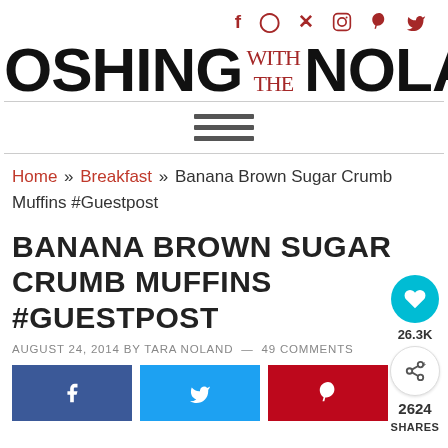Social icons: f, instagram, p, twitter
OSHING WITH THE NOLANS (partial, cropped)
[Figure (other): Hamburger/menu icon — three horizontal bars]
Home » Breakfast » Banana Brown Sugar Crumb Muffins #Guestpost
BANANA BROWN SUGAR CRUMB MUFFINS #GUESTPOST
AUGUST 24, 2014 BY TARA NOLAND — 49 COMMENTS
[Figure (other): Social share buttons: Facebook (blue), Twitter (light blue), Pinterest (red). Floating heart button (teal, 26.3K), share icon button (2624 SHARES).]